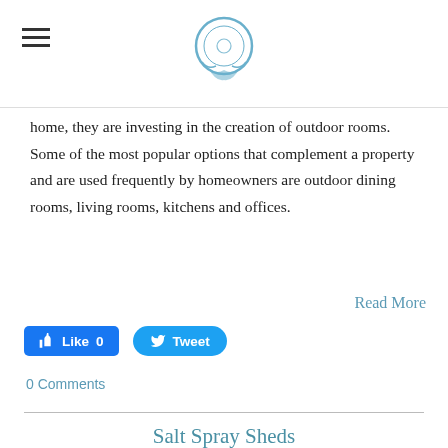[Logo and navigation header]
home, they are investing in the creation of outdoor rooms. Some of the most popular options that complement a property and are used frequently by homeowners are outdoor dining rooms, living rooms, kitchens and offices.
Read More
[Figure (other): Facebook Like button showing Like 0 and Twitter Tweet button]
0 Comments
Salt Spray Sheds
Download our free garden shed plans for the sun and shade here